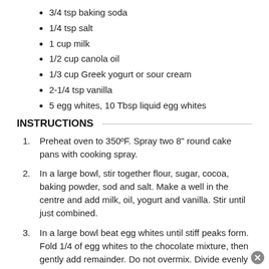3/4 tsp baking soda
1/4 tsp salt
1 cup milk
1/2 cup canola oil
1/3 cup Greek yogurt or sour cream
2-1/4 tsp vanilla
5 egg whites, 10 Tbsp liquid egg whites
INSTRUCTIONS
Preheat oven to 350ºF. Spray two 8" round cake pans with cooking spray.
In a large bowl, stir together flour, sugar, cocoa, baking powder, sod and salt. Make a well in the centre and add milk, oil, yogurt and vanilla. Stir until just combined.
In a large bowl beat egg whites until stiff peaks form. Fold 1/4 of egg whites to the chocolate mixture, then gently add remainder. Do not overmix. Divide evenly into pans. Bake 35-40 minutes. Do not overbake. Cool on wire racks.
ASSEMBLY: Filling: mix cherry pie filling with kirsch; set aside. Frosting: Whip cream until stiff peaks form. Add sugar and vanilla and beat one last minute. Remove 3/4 cup and set aside. Whip cocoa into remaining cream.